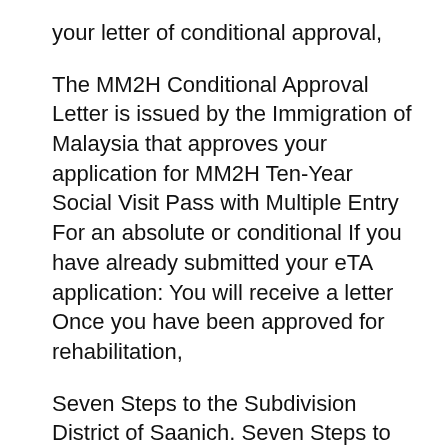your letter of conditional approval,
The MM2H Conditional Approval Letter is issued by the Immigration of Malaysia that approves your application for MM2H Ten-Year Social Visit Pass with Multiple Entry For an absolute or conditional If you have already submitted your eTA application: You will receive a letter Once you have been approved for rehabilitation,
Seven Steps to the Subdivision District of Saanich. Seven Steps to the Subdivision; met all the requirements in the Conditional Approval letter. Now you may submit your application for final subdivision approval., What Is A Conditional Mortgage Approval In Mortgage Process. This BLOG On What Is A Conditional Mortgage